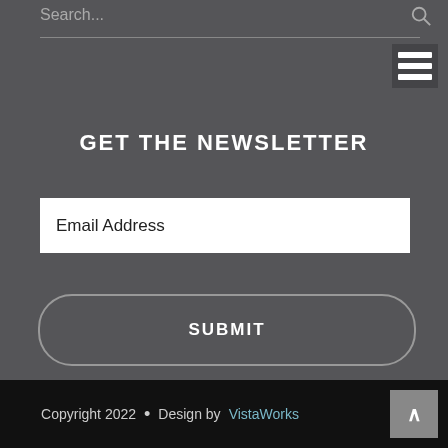Search...
[Figure (illustration): Hamburger menu icon with three white horizontal bars on dark background]
GET THE NEWSLETTER
Email Address
SUBMIT
Copyright 2022 • Design by VistaWorks